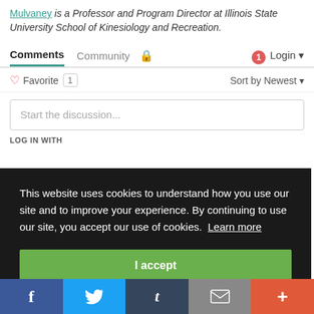Mulvaney is a Professor and Program Director at Illinois State University School of Kinesiology and Recreation.
Comments  Community  🔒  1  Login
♡ Favorite 1    Sort by Newest
Start the discussion...
LOG IN WITH
This website uses cookies to understand how you use our site and to improve your experience. By continuing to use our site, you accept our use of cookies. Learn more
I accept
f  (Twitter bird)  t  (envelope)  +